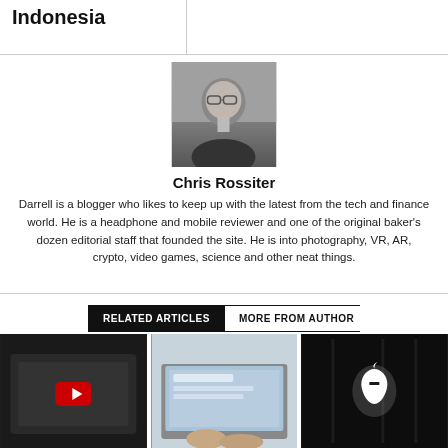Indonesia
[Figure (photo): Black and white headshot photo of Chris Rossiter, a man with glasses]
Chris Rossiter
Darrell is a blogger who likes to keep up with the latest from the tech and finance world. He is a headphone and mobile reviewer and one of the original baker's dozen editorial staff that founded the site. He is into photography, VR, AR, crypto, video games, science and other neat things.
RELATED ARTICLES   MORE FROM AUTHOR
[Figure (photo): Dark image of a tablet/phone on a laptop showing a YouTube red play button]
[Figure (photo): Hands typing on a laptop with Windows 11 visible on screen]
[Figure (photo): Dark image of an Apple logo illuminated on a dark background]